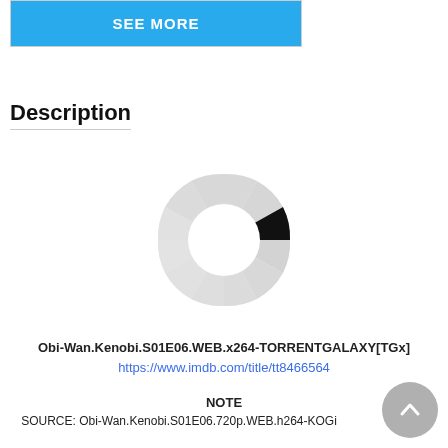[Figure (other): SEE MORE button inside a bordered box]
Description
[Figure (other): Segmented donut/spinner loading indicator with one dark segment and remaining light gray segments, indicating a loading state]
Obi-Wan.Kenobi.S01E06.WEB.x264-TORRENTGALAXY[TGx]
https://www.imdb.com/title/tt8466564
NOTE
SOURCE: Obi-Wan.Kenobi.S01E06.720p.WEB.h264-KOGi